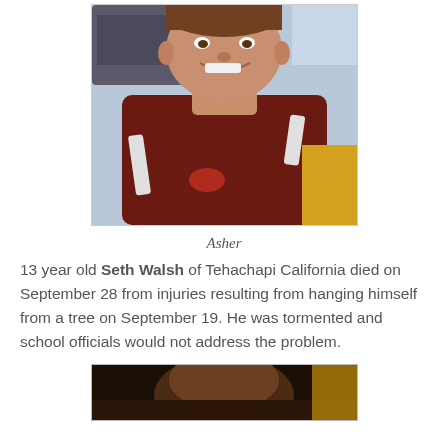[Figure (photo): Portrait photo of a smiling young man wearing a dark red/maroon athletic jersey with white stripe details, outdoors with a vehicle visible in background]
Asher
13 year old Seth Walsh of Tehachapi California died on September 28 from injuries resulting from hanging himself from a tree on September 19. He was tormented and school officials would not address the problem.
[Figure (photo): Partial photo of another person, cropped at bottom of page]